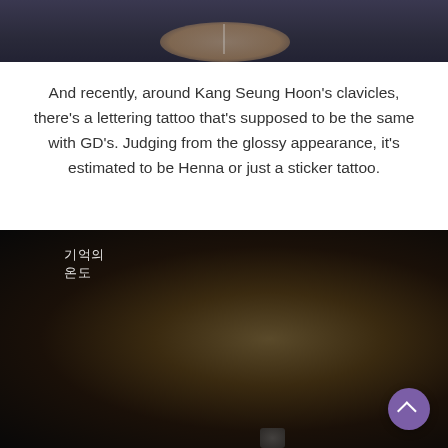[Figure (photo): Top portion of a photo showing a person's neck/collarbone area wearing a dark top with a necklace, against a dark background]
And recently, around Kang Seung Hoon's clavicles, there's a lettering tattoo that's supposed to be the same with GD's. Judging from the glossy appearance, it's estimated to be Henna or just a sticker tattoo.
[Figure (photo): Photo of a person with bleached blonde messy hair performing on stage, wearing an in-ear monitor. Korean text watermark '기억의 온도' visible in upper left corner. A purple scroll-to-top button is visible in the lower right corner.]